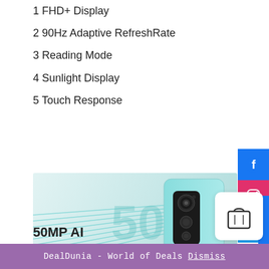1 FHD+ Display
2 90Hz Adaptive RefreshRate
3 Reading Mode
4 Sunlight Display
5 Touch Response
[Figure (photo): Redmi phone rear camera with 50MP text and teal light beams on gradient background]
50MP AI
DealDunia - World of Deals Dismiss